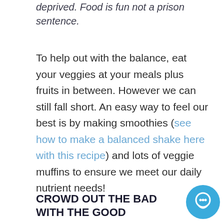deprived. Food is fun not a prison sentence.
To help out with the balance, eat your veggies at your meals plus fruits in between. However we can still fall short. An easy way to feel our best is by making smoothies (see how to make a balanced shake here with this recipe) and lots of veggie muffins to ensure we meet our daily nutrient needs!
CROWD OUT THE BAD WITH THE GOOD